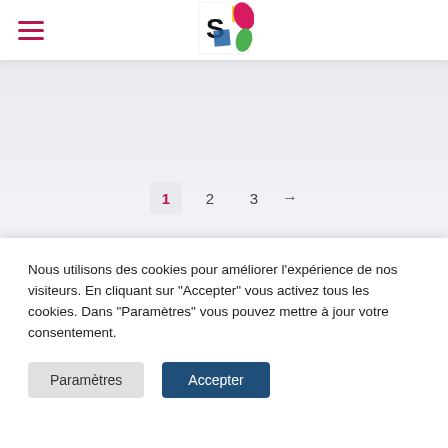[Figure (logo): SWF logo with colorful leaf/butterfly design in yellow, pink/red, blue, and green on white background]
[Figure (other): Pagination navigation showing pages 1 (active, highlighted), 2, 3, and a right arrow]
[Figure (other): Blue triangle/mountain shape visible at the bottom of the page content area]
Nous utilisons des cookies pour améliorer l'expérience de nos visiteurs. En cliquant sur "Accepter" vous activez tous les cookies. Dans "Paramètres" vous pouvez mettre à jour votre consentement.
Paramètres
Accepter